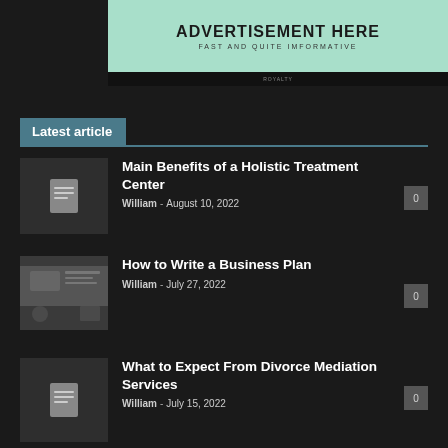[Figure (other): Advertisement banner with mint green background reading ADVERTISEMENT HERE and FAST AND QUITE IMFORMATIVE]
Latest article
Main Benefits of a Holistic Treatment Center
William - August 10, 2022    0
How to Write a Business Plan
William - July 27, 2022    0
What to Expect From Divorce Mediation Services
William - July 15, 2022    0